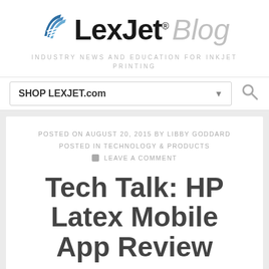[Figure (logo): LexJet Blog logo with blue wing/stripe icon, bold black LexJet text, and gray italic Blog text]
INDUSTRY NEWS AND EDUCATION FOR INKJET PRINTING
SHOP LEXJET.com
POSTED ON AUGUST 20, 2015 BY LIBBY GODDARD POSTED IN TECHNOLOGY & PRODUCTS LEAVE A COMMENT
Tech Talk: HP Latex Mobile App Review